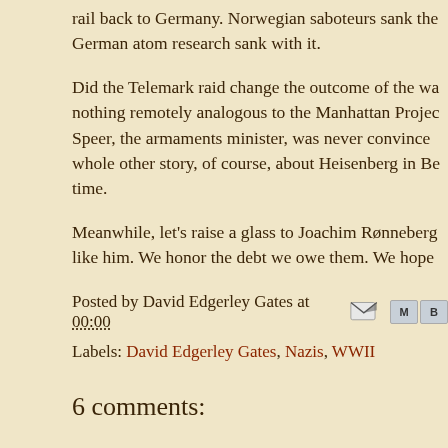rail back to Germany. Norwegian saboteurs sank the German atom research sank with it.
Did the Telemark raid change the outcome of the war? nothing remotely analogous to the Manhattan Project. Speer, the armaments minister, was never convinced whole other story, of course, about Heisenberg in Be time.
Meanwhile, let's raise a glass to Joachim Rønneberg like him. We honor the debt we owe them. We hope
Posted by David Edgerley Gates at 00:00
Labels: David Edgerley Gates, Nazis, WWII
6 comments: